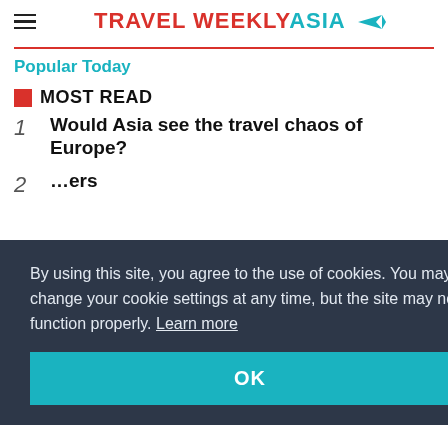TRAVEL WEEKLY ASIA
Popular Today
MOST READ
1 Would Asia see the travel chaos of Europe?
By using this site, you agree to the use of cookies. You may change your cookie settings at any time, but the site may not function properly. Learn more
OK